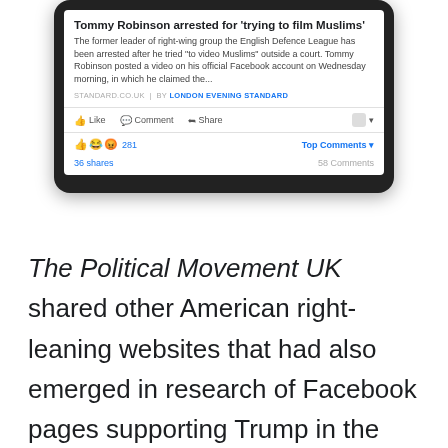[Figure (screenshot): A Facebook post screenshot shown in a dark device frame. The post shows a news article titled 'Tommy Robinson arrested for trying to film Muslims'. The article body reads: 'The former leader of right-wing group the English Defence League has been arrested after he tried to video Muslims outside a court. Tommy Robinson posted a video on his official Facebook account on Wednesday morning, in which he claimed the...' Source: STANDARD.CO.UK | BY LONDON EVENING STANDARD. Below the article card are Facebook action buttons: Like, Comment, Share. A reactions row shows emoji icons and 281 reactions, Top Comments button, 36 shares, and 58 Comments.]
The Political Movement UK shared other American right-leaning websites that had also emerged in research of Facebook pages supporting Trump in the U.S.. These websites include: Conservative Daily Post,  The Daily